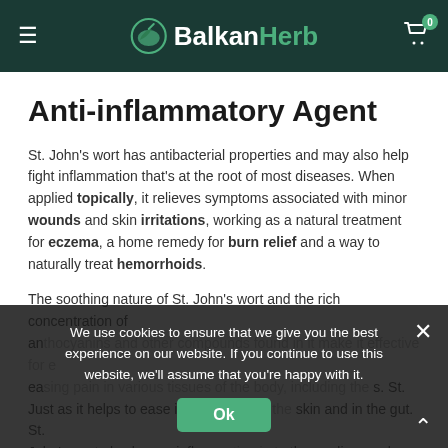BalkanHerb
Anti-inflammatory Agent
St. John's wort has antibacterial properties and may also help fight inflammation that's at the root of most diseases. When applied topically, it relieves symptoms associated with minor wounds and skin irritations, working as a natural treatment for eczema, a home remedy for burn relief and a way to naturally treat hemorrhoids.
The soothing nature of St. John's wort and the rich concentration of an... ea... Just as it helps to ease in... skin and in the gut. St. John's wort also lowers inflamm... to the cardiovascular sy... thereby helping lower blood pressure and decrease stress on the
We use cookies to ensure that we give you the best experience on our website. If you continue to use this website, we'll assume that you're happy with it.